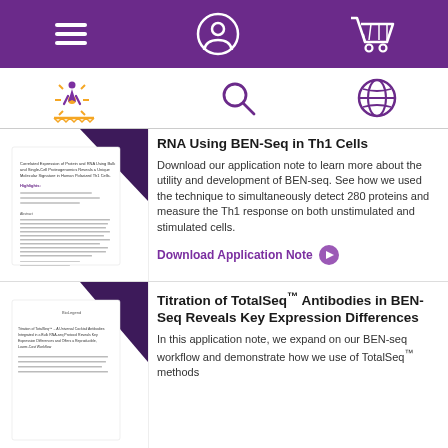Navigation bar with hamburger menu, user account icon, and shopping cart icon
Secondary navigation with BioLegend logo, search icon, and globe icon
[Figure (other): Document preview thumbnail for BEN-Seq application note about Correlated Expression of Protein and RNA Using Bulk and Single-Cell Proteogenomics Reveals a Unique Molecular Signature in Human Polarized Th1 Cells]
RNA Using BEN-Seq in Th1 Cells
Download our application note to learn more about the utility and development of BEN-seq. See how we used the technique to simultaneously detect 280 proteins and measure the Th1 response on both unstimulated and stimulated cells.
Download Application Note
[Figure (other): Document preview thumbnail for Titration of TotalSeq antibodies application note]
Titration of TotalSeq™ Antibodies in BEN-Seq Reveals Key Expression Differences
In this application note, we expand on our BEN-seq workflow and demonstrate how we use of TotalSeq™ methods